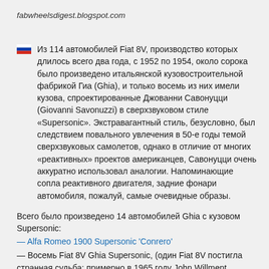fabwheelsdigest.blogspot.com
Из 114 автомобилей Fiat 8V, производство которых длилось всего два года, с 1952 по 1954, около сорока было произведено итальянской кузовостроительной фабрикой Гиа (Ghia), и только восемь из них имели кузова, спроектированные Джованни Савонуцци (Giovanni Savonuzzi) в сверхзвуковом стиле «Supersonic». Экстравагантный стиль, безусловно, был следствием повального увлечения в 50-е годы темой сверхзвуковых самолетов, однако в отличие от многих «реактивных» проектов американцев, Савонуцци очень аккуратно использовал аналогии. Напоминающие сопла реактивного двигателя, задние фонари автомобиля, пожалуй, самые очевидные образы.
Всего было произведено 14 автомобилей Ghia с кузовом Supersonic:
— Alfa Romeo 1900 Supersonic 'Conrero'
— Восемь Fiat 8V Ghia Supersonic, (один Fiat 8V постигла странная судьба: примерно в 1965 году John Willment,